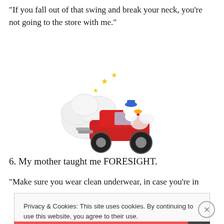“If you fall out of that swing and break your neck, you’re not going to the store with me.”
[Figure (illustration): Cartoon illustration of Donald Duck driving a red hot rod car with smoke puffs and yellow stars around it]
6. My mother taught me FORESIGHT.
“Make sure you wear clean underwear, in case you’re in
Privacy & Cookies: This site uses cookies. By continuing to use this website, you agree to their use.
To find out more, including how to control cookies, see here: Cookie Policy